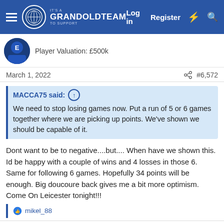It's a GRANDOLDTEAM to support — Log in  Register
Player Valuation: £500k
March 1, 2022   #6,572
MACCA75 said: ↑
We need to stop losing games now. Put a run of 5 or 6 games together where we are picking up points. We've shown we should be capable of it.
Dont want to be to negative....but.... When have we shown this. Id be happy with a couple of wins and 4 losses in those 6. Same for following 6 games. Hopefully 34 points will be enough. Big doucoure back gives me a bit more optimism. Come On Leicester tonight!!!
👍 mikel_88
MACCA75  Player Valuation: £60m